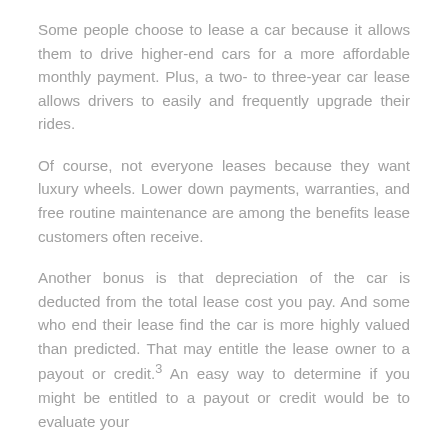Some people choose to lease a car because it allows them to drive higher-end cars for a more affordable monthly payment. Plus, a two- to three-year car lease allows drivers to easily and frequently upgrade their rides.
Of course, not everyone leases because they want luxury wheels. Lower down payments, warranties, and free routine maintenance are among the benefits lease customers often receive.
Another bonus is that depreciation of the car is deducted from the total lease cost you pay. And some who end their lease find the car is more highly valued than predicted. That may entitle the lease owner to a payout or credit.3 An easy way to determine if you might be entitled to a payout or credit would be to evaluate your